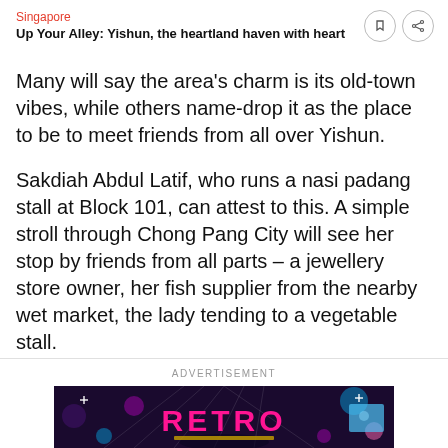Singapore
Up Your Alley: Yishun, the heartland haven with heart
Many will say the area's charm is its old-town vibes, while others name-drop it as the place to be to meet friends from all over Yishun.
Sakdiah Abdul Latif, who runs a nasi padang stall at Block 101, can attest to this. A simple stroll through Chong Pang City will see her stop by friends from all parts – a jewellery store owner, her fish supplier from the nearby wet market, the lady tending to a vegetable stall.
ADVERTISEMENT
[Figure (photo): Advertisement image showing neon signage reading RETRO with colorful bokeh lights on a dark background]